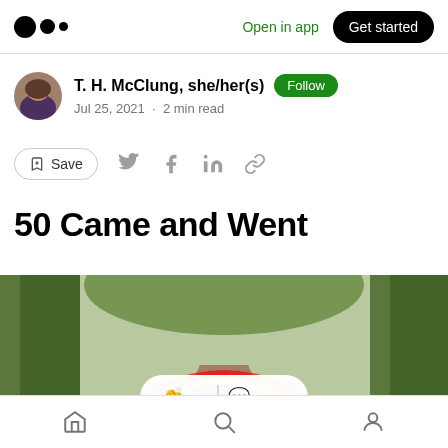Medium logo | Open in app | Get started
T. H. McClung, she/her(s) | Follow
Jul 25, 2021 · 2 min read
Save (with social share icons: Twitter, Facebook, LinkedIn, Link)
50 Came and Went
[Figure (photo): Forest path with a rainbow arc overlaid, with clap and comment interaction bar]
Home | Search | Profile (bottom navigation icons)